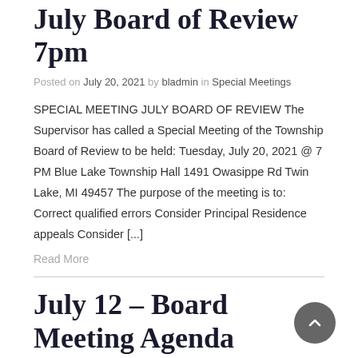July Board of Review 7pm
Posted on July 20, 2021 by bladmin in Special Meetings
SPECIAL MEETING JULY BOARD OF REVIEW The Supervisor has called a Special Meeting of the Township Board of Review to be held: Tuesday, July 20, 2021 @ 7 PM Blue Lake Township Hall 1491 Owasippe Rd Twin Lake, MI 49457 The purpose of the meeting is to: Correct qualified errors Consider Principal Residence appeals Consider [...]
Read More
July 12 – Board Meeting Agenda
Posted on July 9, 2021 by bladmin in Announcements, Board